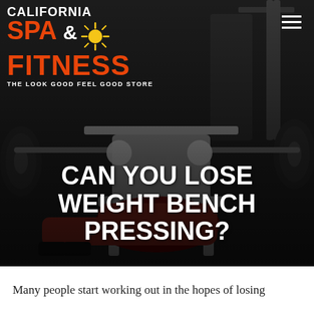[Figure (photo): Hero image of a person dressed as Santa Claus bench pressing weights in a gym, with gym equipment in the background. The image is dark/moody with gym equipment visible.]
CAN YOU LOSE WEIGHT BENCH PRESSING?
Many people start working out in the hopes of losing